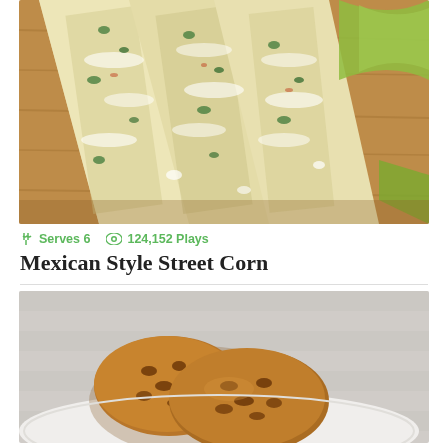[Figure (photo): Overhead photo of Mexican style street corn on the cob, cut lengthwise and laid on a wooden cutting board, topped with white cheese, chopped cilantro, chili powder, with lime wedges on the side]
Serves 6   124,152 Plays
Mexican Style Street Corn
[Figure (photo): Photo of chocolate chip cookies stacked on a white plate with a striped cloth in the background]